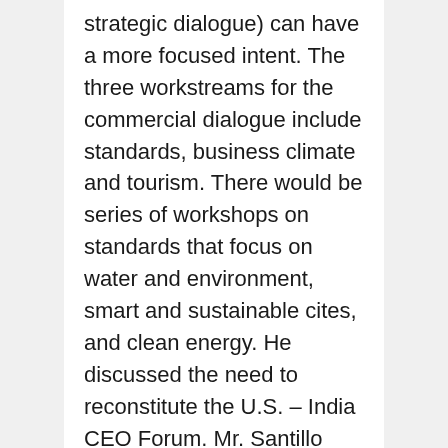strategic dialogue) can have a more focused intent. The three workstreams for the commercial dialogue include standards, business climate and tourism. There would be series of workshops on standards that focus on water and environment, smart and sustainable cites, and clean energy. He discussed the need to reconstitute the U.S. – India CEO Forum. Mr. Santillo also encouraged AMCHAM members to utilize the Consuls General in the U.S. Consulates.
An interactive Q&A followed which was moderated by Mr. Phil Shaw,